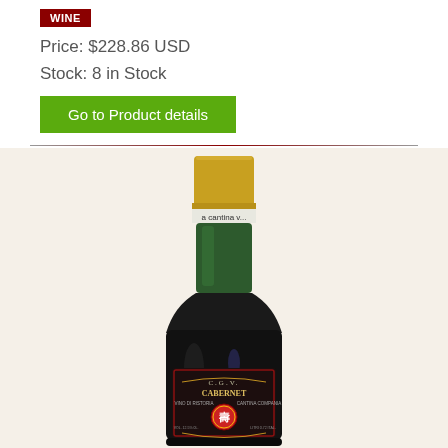Price: $228.86 USD
Stock: 8 in Stock
Go to Product details
[Figure (photo): Photo of a vintage wine bottle with gold foil cap, white tax strip labeled 'cantina', green glass neck, and a dark label reading 'CABERNET' with 'C.G.V.' and a red seal/crest emblem.]